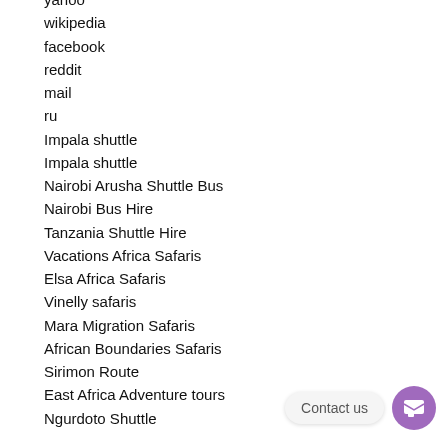yahoo
wikipedia
facebook
reddit
mail
ru
Impala shuttle
Impala shuttle
Nairobi Arusha Shuttle Bus
Nairobi Bus Hire
Tanzania Shuttle Hire
Vacations Africa Safaris
Elsa Africa Safaris
Vinelly safaris
Mara Migration Safaris
African Boundaries Safaris
Sirimon Route
East Africa Adventure tours
Ngurdoto Shuttle